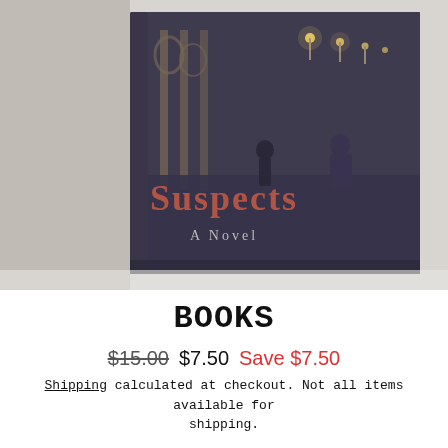[Figure (photo): A book titled 'Suspects: A Novel' photographed standing upright on a white surface. The book cover shows a dark, moody nighttime scene of a grand building with illuminated street lamps and two figures in the distance. The title 'Suspects' appears in reddish-brown text and 'A Novel' in smaller text below.]
BOOKS
$15.00  $7.50  Save $7.50
Shipping calculated at checkout. Not all items available for shipping.